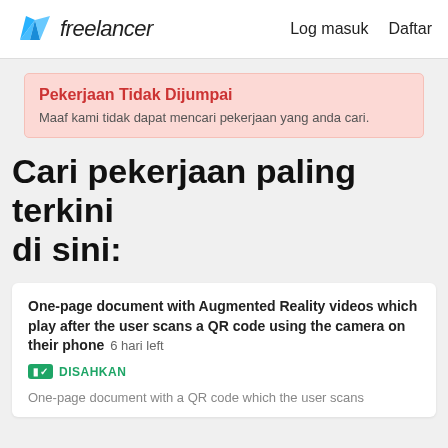freelancer   Log masuk   Daftar
Pekerjaan Tidak Dijumpai
Maaf kami tidak dapat mencari pekerjaan yang anda cari.
Cari pekerjaan paling terkini di sini:
One-page document with Augmented Reality videos which play after the user scans a QR code using the camera on their phone  6 hari left
DISAHKAN
One-page document with a QR code which the user scans...